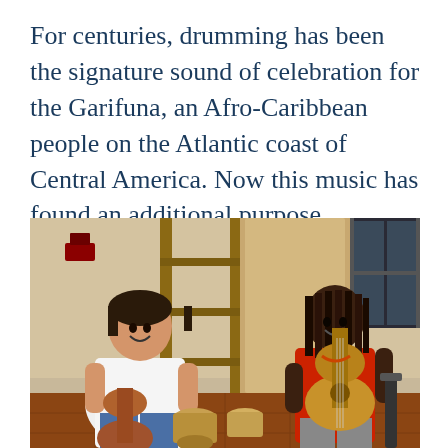For centuries, drumming has been the signature sound of celebration for the Garifuna, an Afro-Caribbean people on the Atlantic coast of Central America. Now this music has found an additional purpose.
[Figure (photo): Two musicians sitting face to face in a room with wooden shelving in the background. On the left, a man with dark hair wearing a white t-shirt holds a wooden drum (djembe) and has a guitar behind him. On the right, a man with long dreadlocks wearing a red sleeveless shirt plays an acoustic guitar. A small drum sits between them on the tiled floor.]